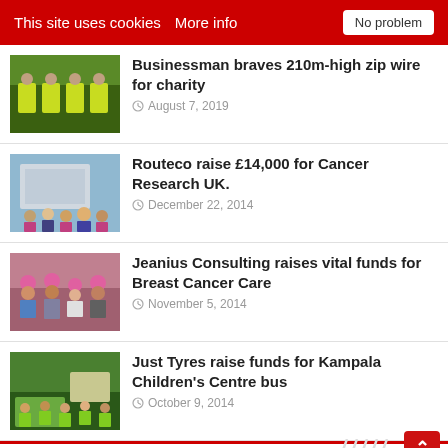This site uses cookies   More info   No problem
Businessman braves 210m-high zip wire for charity
August 7, 2019
Routeco raise £14,000 for Cancer Research UK.
December 22, 2014
Jeanius Consulting raises vital funds for Breast Cancer Care
November 5, 2014
Just Tyres raise funds for Kampala Children's Centre bus
October 9, 2014
WE WANT YOUR NEWS